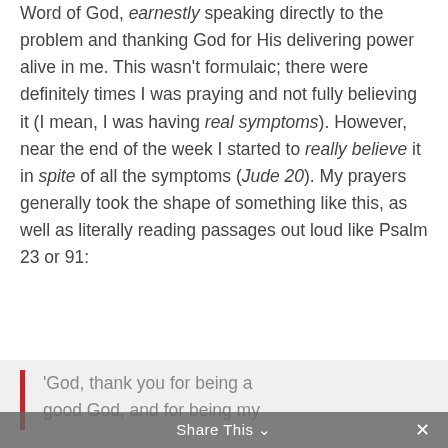Word of God, earnestly speaking directly to the problem and thanking God for His delivering power alive in me. This wasn't formulaic; there were definitely times I was praying and not fully believing it (I mean, I was having real symptoms). However, near the end of the week I started to really believe it in spite of all the symptoms (Jude 20). My prayers generally took the shape of something like this, as well as literally reading passages out loud like Psalm 23 or 91:
'God, thank you for being a good God, and for being my